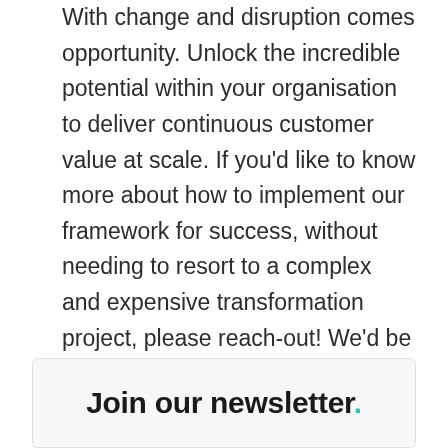With change and disruption comes opportunity. Unlock the incredible potential within your organisation to deliver continuous customer value at scale. If you'd like to know more about how to implement our framework for success, without needing to resort to a complex and expensive transformation project, please reach-out! We'd be delighted to see how we can help.
Join our newsletter.